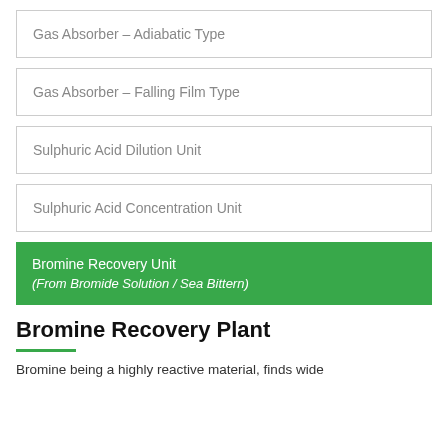Gas Absorber – Adiabatic Type
Gas Absorber – Falling Film Type
Sulphuric Acid Dilution Unit
Sulphuric Acid Concentration Unit
Bromine Recovery Unit
(From Bromide Solution / Sea Bittern)
Bromine Recovery Plant
Bromine being a highly reactive material, finds wide